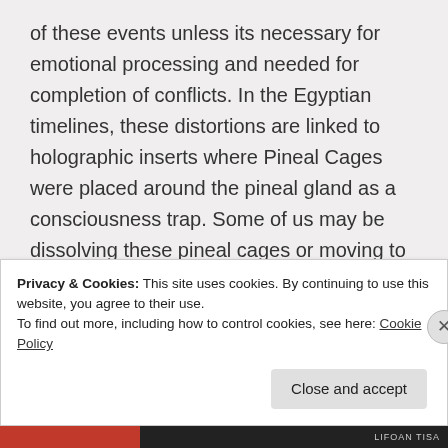of these events unless its necessary for emotional processing and needed for completion of conflicts. In the Egyptian timelines, these distortions are linked to holographic inserts where Pineal Cages were placed around the pineal gland as a consciousness trap. Some of us may be dissolving these pineal cages or moving to another stage of clearing these from the lightbody, so for that reason, I place this information here for your consideration and awareness.[4]
Privacy & Cookies: This site uses cookies. By continuing to use this website, you agree to their use. To find out more, including how to control cookies, see here: Cookie Policy
Close and accept